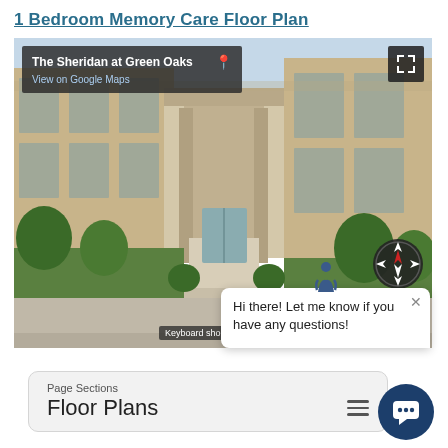1 Bedroom Memory Care Floor Plan
[Figure (screenshot): Google Street View of The Sheridan at Green Oaks senior living community exterior. Shows brick building facade, covered entrance walkway with columns, landscaping with trees and shrubs, and parking area. Overlay shows location label 'The Sheridan at Green Oaks' with pin icon and 'View on Google Maps' link, fullscreen button, compass control, and keyboard shortcuts label. A chat popup is visible in the lower right saying 'Hi there! Let me know if you have any questions!']
Page Sections
Floor Plans